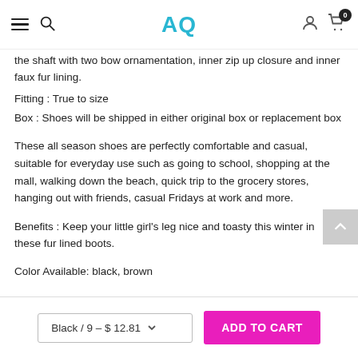AQ
the shaft with two bow ornamentation, inner zip up closure and inner faux fur lining.
Fitting : True to size
Box : Shoes will be shipped in either original box or replacement box
These all season shoes are perfectly comfortable and casual, suitable for everyday use such as going to school, shopping at the mall, walking down the beach, quick trip to the grocery stores, hanging out with friends, casual Fridays at work and more.
Benefits : Keep your little girl's leg nice and toasty this winter in these fur lined boots.
Color Available: black, brown
Black / 9 - $ 12.81  ADD TO CART